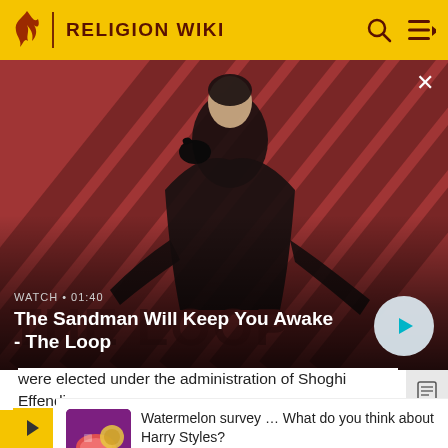RELIGION WIKI
[Figure (screenshot): Promo video thumbnail showing a dark-clad figure against a red diagonal striped background. Title: The Sandman Will Keep You Awake - The Loop. Duration: 01:40.]
were elected under the administration of Shoghi Effendi.
B... a...
[Figure (infographic): Survey popup with watermelon-themed thumbnail. Text: Watermelon survey … What do you think about Harry Styles? TAKE THE SURVEY HERE]